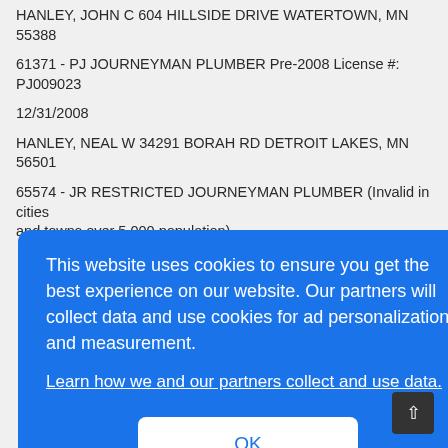HANLEY, JOHN C 604 HILLSIDE DRIVE WATERTOWN, MN 55388
61371 - PJ JOURNEYMAN PLUMBER Pre-2008 License #: PJ009023
12/31/2008
HANLEY, NEAL W 34291 BORAH RD DETROIT LAKES, MN 56501
65574 - JR RESTRICTED JOURNEYMAN PLUMBER (Invalid in cities and towns over 5,000 population)
This website uses cookies to ensure you get the best experience on our website. Our partners will collect data and use cookies for ad personalization and measurement.
Learn how we and our partners collect and use data.
OK